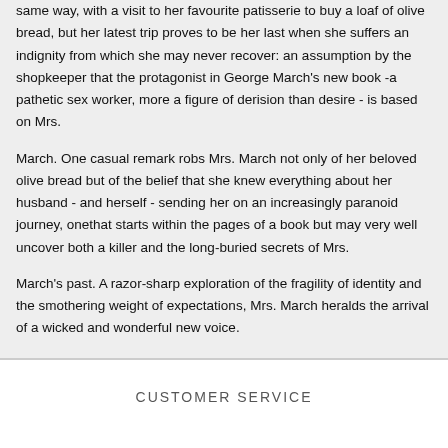same way, with a visit to her favourite patisserie to buy a loaf of olive bread, but her latest trip proves to be her last when she suffers an indignity from which she may never recover: an assumption by the shopkeeper that the protagonist in George March's new book -a pathetic sex worker, more a figure of derision than desire - is based on Mrs.
March. One casual remark robs Mrs. March not only of her beloved olive bread but of the belief that she knew everything about her husband - and herself - sending her on an increasingly paranoid journey, onethat starts within the pages of a book but may very well uncover both a killer and the long-buried secrets of Mrs.
March's past. A razor-sharp exploration of the fragility of identity and the smothering weight of expectations, Mrs. March heralds the arrival of a wicked and wonderful new voice.
CUSTOMER SERVICE